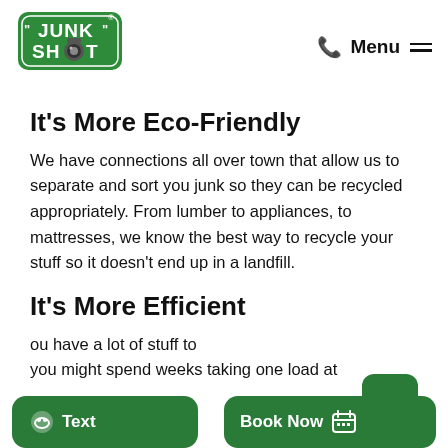JUNK SHOT logo | phone icon | Menu
It's More Eco-Friendly
We have connections all over town that allow us to separate and sort you junk so they can be recycled appropriately. From lumber to appliances, to mattresses, we know the best way to recycle your stuff so it doesn't end up in a landfill.
It's More Efficient
ou have a lot of stuff to you might spend weeks taking one load at